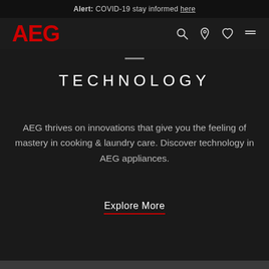Alert: COVID-19 stay informed here
[Figure (logo): AEG logo in red bold text, with navigation icons (search, location pin, heart, hamburger menu) on the right]
TECHNOLOGY
AEG thrives on innovations that give you the feeling of mastery in cooking & laundry care. Discover technology in AEG appliances.
Explore More